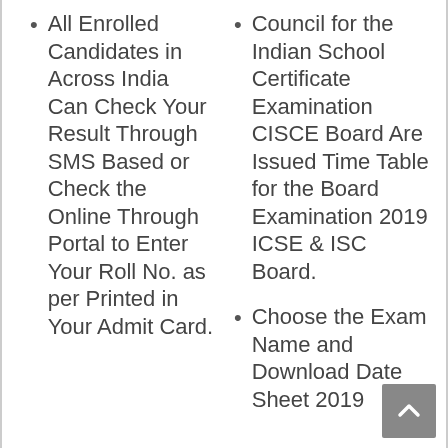All Enrolled Candidates in Across India Can Check Your Result Through SMS Based or Check the Online Through Portal to Enter Your Roll No. as per Printed in Your Admit Card.
Council for the Indian School Certificate Examination CISCE Board Are Issued Time Table for the Board Examination 2019 ICSE & ISC Board.
Choose the Exam Name and Download Date Sheet 2019